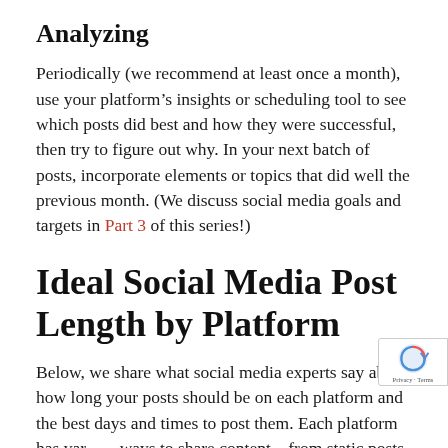Analyzing
Periodically (we recommend at least once a month), use your platform's insights or scheduling tool to see which posts did best and how they were successful, then try to figure out why. In your next batch of posts, incorporate elements or topics that did well the previous month. (We discuss social media goals and targets in Part 3 of this series!)
Ideal Social Media Post Length by Platform
Below, we share what social media experts say about how long your posts should be on each platform and the best days and times to post them. Each platform has various ways to share content—from static posts to video to short-lived stories. Social media apps seem to favor...